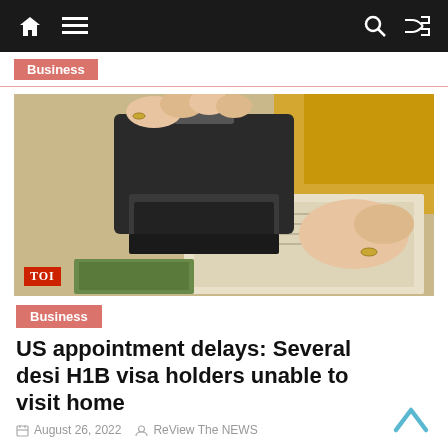Navigation bar with home, menu, search, and shuffle icons
Business
[Figure (photo): Hands using a rubber stamp on documents, with a TOI badge in the lower left corner]
Business
US appointment delays: Several desi H1B visa holders unable to visit home
August 26, 2022   ReView The NEWS